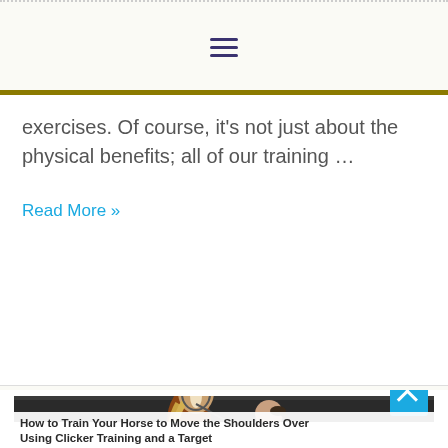Navigation menu icon
exercises. Of course, it's not just about the physical benefits; all of our training …
Read More »
[Figure (photo): A woman in a green jacket training a brown and white horse in an outdoor arena with stone walls and trees in the background. The woman holds a stick and the horse is walking beside her.]
How to Train Your Horse to Move the Shoulders Over Using Clicker Training and a Target